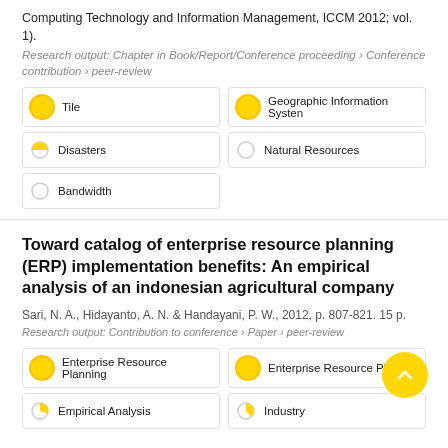Computing Technology and Information Management, ICCM 2012; vol. 1).
Research output: Chapter in Book/Report/Conference proceeding › Conference contribution › peer-review
Tile
Geographic Information System
Disasters
Natural Resources
Bandwidth
Toward catalog of enterprise resource planning (ERP) implementation benefits: An empirical analysis of an indonesian agricultural company
Sari, N. A., Hidayanto, A. N. & Handayani, P. W., 2012, p. 807-821. 15 p.
Research output: Contribution to conference › Paper › peer-review
Enterprise Resource Planning
Enterprise Resource Planning
Empirical Analysis
Industry